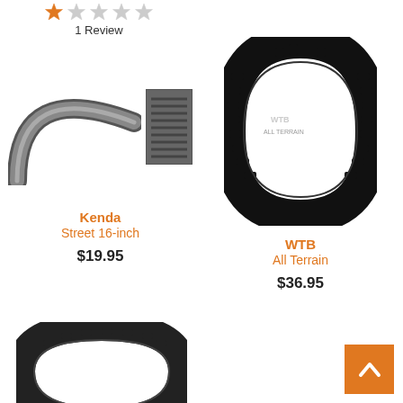[Figure (other): Star rating row with 1 filled orange star and 4 grey stars, with text '1 Review' below]
[Figure (photo): Kenda Street 16-inch bicycle tire shown from side (arc shape) and tread pattern thumbnail]
Kenda
Street 16-inch
$19.95
[Figure (photo): WTB All Terrain bicycle tire shown upright, full knobby tread pattern visible]
WTB
All Terrain
$36.95
[Figure (photo): Partial view of a bottom bicycle tire (cropped, dark tire arc visible at bottom of page)]
[Figure (other): Orange 'back to top' button with upward-pointing chevron arrow in bottom right corner]